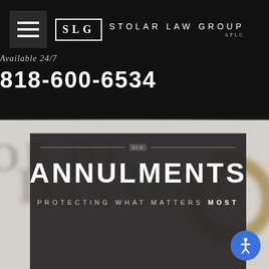[Figure (logo): Stolar Law Group logo with SLG initials in a bordered box, hamburger menu icon on left, firm name in spaced caps, 'Available 24/7' tagline, and phone number 818-600-6534 on dark background]
[Figure (photo): Background showing a blurred decree of divorce document with a wedding ring and magnifying glass, with dark overlay card showing 'ANNULMENTS' heading]
ANNULMENTS
PROTECTING WHAT MATTERS MOST